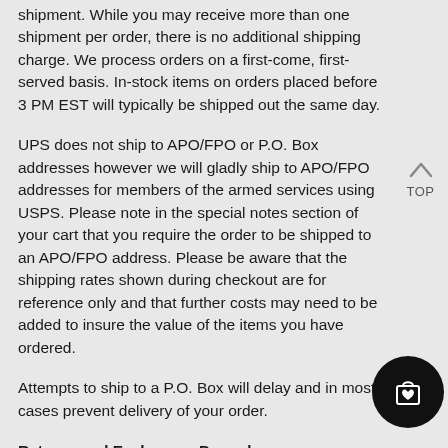shipment. While you may receive more than one shipment per order, there is no additional shipping charge. We process orders on a first-come, first-served basis. In-stock items on orders placed before 3 PM EST will typically be shipped out the same day.
UPS does not ship to APO/FPO or P.O. Box addresses however we will gladly ship to APO/FPO addresses for members of the armed services using USPS. Please note in the special notes section of your cart that you require the order to be shipped to an APO/FPO address. Please be aware that the shipping rates shown during checkout are for reference only and that further costs may need to be added to insure the value of the items you have ordered.
Attempts to ship to a P.O. Box will delay and in most cases prevent delivery of your order.
Returns and Exchanges Procedures:
There is no need to contact all3sports.com prior to